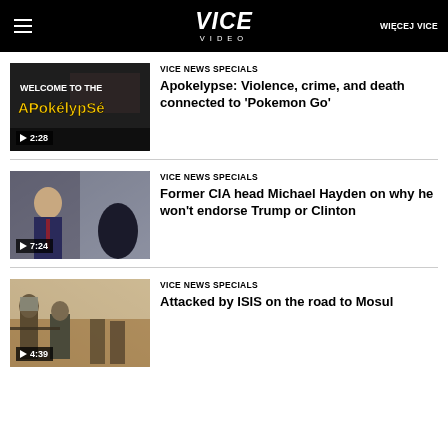VICE VIDEO | WIĘCEJ VICE
[Figure (screenshot): Video thumbnail: Welcome to the Apokelypse, play button, 2:28 duration]
VICE NEWS SPECIALS
Apokelypse: Violence, crime, and death connected to 'Pokemon Go'
[Figure (screenshot): Video thumbnail: Former CIA head Michael Hayden interview, play button, 7:24 duration]
VICE NEWS SPECIALS
Former CIA head Michael Hayden on why he won't endorse Trump or Clinton
[Figure (screenshot): Video thumbnail: Armed soldiers, play button, 4:39 duration]
VICE NEWS SPECIALS
Attacked by ISIS on the road to Mosul